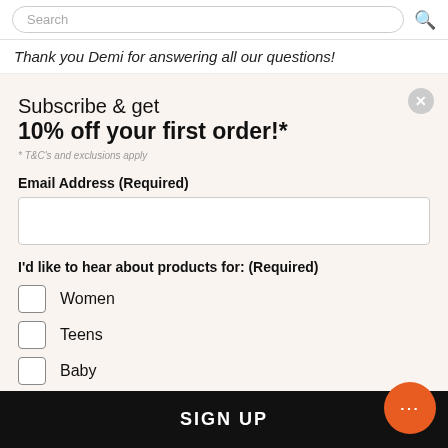Search
Thank you Demi for answering all our questions!
Subscribe & get
10% off your first order!*
* T&C's and exclusions apply
Email Address (Required)
I'd like to hear about products for: (Required)
Women
Teens
Baby
Men
SIGN UP